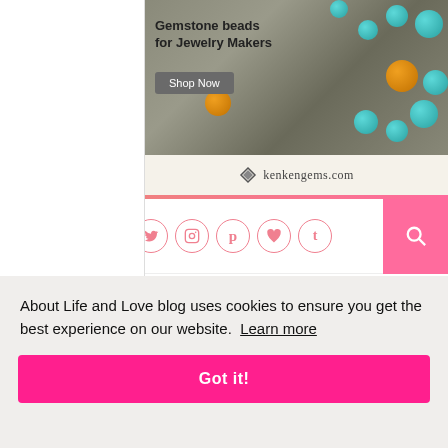[Figure (photo): Advertisement for kenkengems.com showing gemstone beads and jewelry with text 'Gemstone beads for Jewelry Makers' and a 'Shop Now' button, featuring turquoise and amber beads on a gray background.]
[Figure (screenshot): Website navigation bar with hamburger menu icon on left, social media icon buttons (Facebook, Twitter, Instagram, Pinterest, heart/Bloglovin, Tumblr) in pink circle outlines, and a pink search button on the right.]
[Figure (screenshot): Cookie consent banner with text 'About Life and Love blog uses cookies to ensure you get the best experience on our website. Learn more' and a pink 'Got it!' button.]
[Figure (photo): Partial view of a 'He Said Yes' jewelry advertisement at the bottom of the page.]